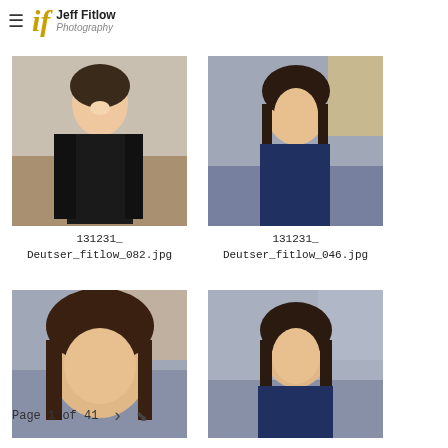Jeff Fitlow Photography
[Figure (photo): Professional portrait of Asian woman in black outfit standing in office]
131231_
Deutser_fitlow_082.jpg
[Figure (photo): Professional portrait of woman with dark hair in navy blouse in office setting]
131231_
Deutser_fitlow_046.jpg
[Figure (photo): Close-up portrait of woman with dark hair in office setting]
[Figure (photo): Portrait of woman with dark hair in navy blouse in office setting]
Page 1 of 41